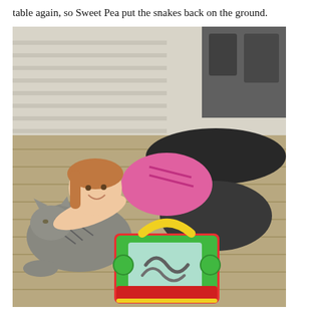table again, so Sweet Pea put the snakes back on the ground.
[Figure (photo): A young girl lying on a wooden deck, smiling and cuddling with a large tabby cat. In the foreground is a colorful toy carrier/cage (green, yellow, red) containing toy snakes. In the background is a house exterior with siding and outdoor furniture.]